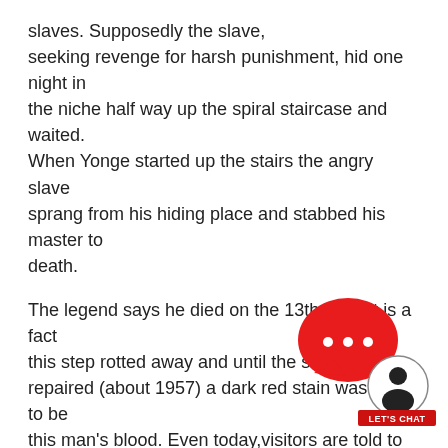slaves. Supposedly the slave, seeking revenge for harsh punishment, hid one night in the niche half way up the spiral staircase and waited. When Yonge started up the stairs the angry slave sprang from his hiding place and stabbed his master to death.
The legend says he died on the 13th step. It is a fact this step rotted away and until the stairway was repaired (about 1957) a dark red stain was said to be this man's blood. Even today,visitors are told to carefully avoidstepping on this haunted spot.
It is afurther fact that William Penn Yonge died in 1878. His grave, along with his son, Joseph's, is located on ahillside some 100 yards from the current Lodge. Beautifully marked with a marble headstone, the wording is simple: “Yonge-W. Penn C. – 1825-1878. Joseph – 1860-1880.”
[Figure (other): Red chat bubble widget with ellipsis dots and a circular badge with a figure icon, and a red 'LET'S CHAT' button bar below.]